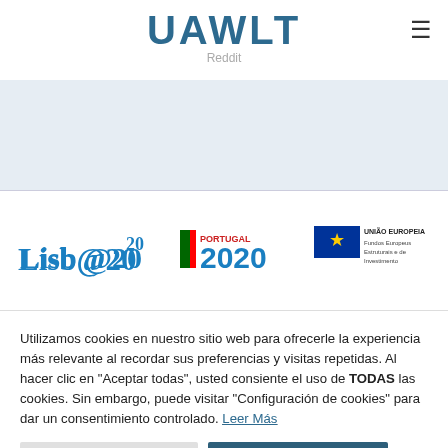UAWLT — Reddit
[Figure (logo): Lisboa 2020, Portugal 2020, and União Europeia / Fundos Europeus Estruturais e de Investimento logos]
Utilizamos cookies en nuestro sitio web para ofrecerle la experiencia más relevante al recordar sus preferencias y visitas repetidas. Al hacer clic en "Aceptar todas", usted consiente el uso de TODAS las cookies. Sin embargo, puede visitar "Configuración de cookies" para dar un consentimiento controlado. Leer Más
Configuración de cookies
Aceptar todas